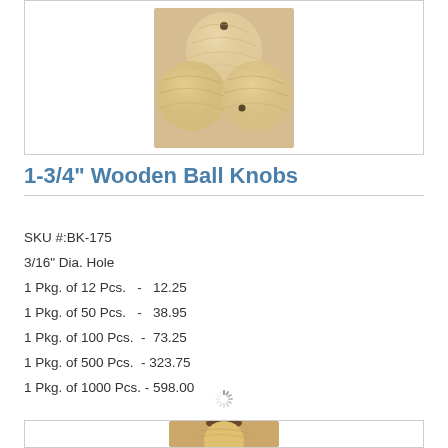[Figure (photo): Three wooden ball knobs with a small hole on top, natural wood color, displayed in a product box]
1-3/4" Wooden Ball Knobs
SKU #:BK-175
3/16" Dia. Hole
1 Pkg. of 12 Pcs.   -   12.25
1 Pkg. of 50 Pcs.   -   38.95
1 Pkg. of 100 Pcs.  -  73.25
1 Pkg. of 500 Pcs.  - 323.75
1 Pkg. of 1000 Pcs. - 598.00
[Figure (photo): Partial view of another wooden ball knob product at the bottom of the page]